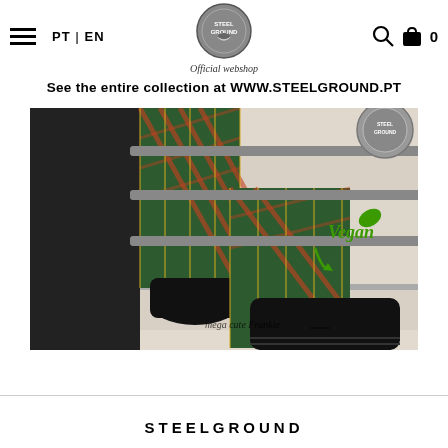PT | EN — Steelground Official webshop — Search — Cart 0
See the entire collection at WWW.STEELGROUND.PT
[Figure (photo): Person sitting on stairs wearing plaid trousers and black lace-up boots. A green Vegan badge with arrow is visible on the right side. Handwritten text on a stair step reads 'mega cute Frankie'. A circular Steelground logo medallion is visible top right.]
STEELGROUND